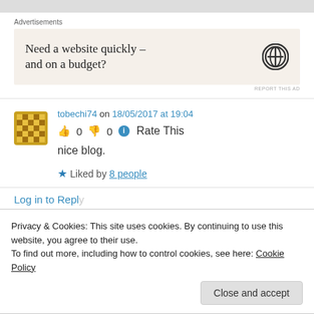[Figure (other): Advertisement banner: 'Need a website quickly – and on a budget?' with WordPress logo]
tobechi74 on 18/05/2017 at 19:04
👍 0 👎 0 ℹ Rate This
nice blog.
★ Liked by 8 people
Log in to Reply
Privacy & Cookies: This site uses cookies. By continuing to use this website, you agree to their use.
To find out more, including how to control cookies, see here: Cookie Policy